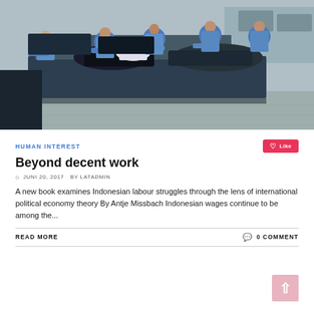[Figure (photo): Factory workers in blue uniforms working at a garment/textile factory, handling dark clothing items on long tables with industrial sewing machines in background]
HUMAN INTEREST
Like
Beyond decent work
JUNI 20, 2017 BY LATADMIN
A new book examines Indonesian labour struggles through the lens of international political economy theory By Antje Missbach Indonesian wages continue to be among the...
READ MORE
0 COMMENT